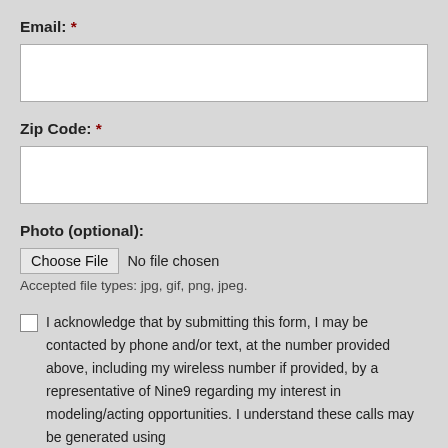Email: *
[Figure (screenshot): Empty text input box for Email field]
Zip Code: *
[Figure (screenshot): Empty text input box for Zip Code field]
Photo (optional):
[Figure (screenshot): File input: Choose File button with 'No file chosen' text]
Accepted file types: jpg, gif, png, jpeg.
I acknowledge that by submitting this form, I may be contacted by phone and/or text, at the number provided above, including my wireless number if provided, by a representative of Nine9 regarding my interest in modeling/acting opportunities. I understand these calls may be generated using